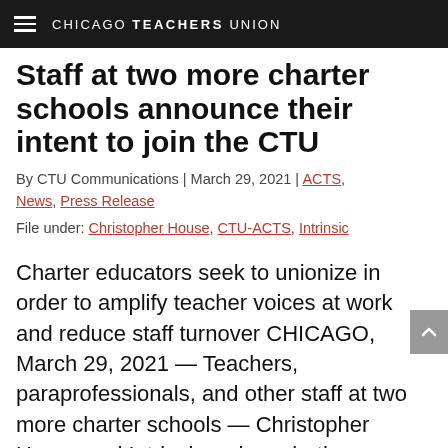CHICAGO TEACHERS UNION
Staff at two more charter schools announce their intent to join the CTU
By CTU Communications | March 29, 2021 | ACTS, News, Press Release
File under: Christopher House, CTU-ACTS, Intrinsic
Charter educators seek to unionize in order to amplify teacher voices at work and reduce staff turnover CHICAGO, March 29, 2021 — Teachers, paraprofessionals, and other staff at two more charter schools — Christopher House and Intrinsic — have both